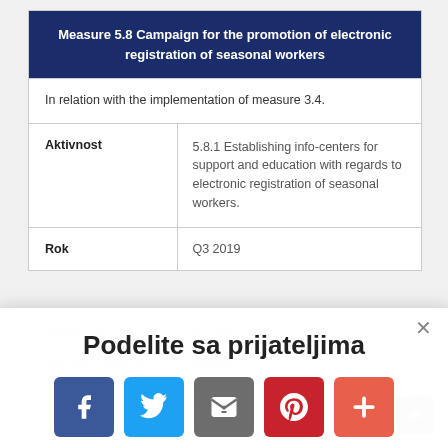|  |  |
| --- | --- |
| Measure 5.8 Campaign for the promotion of electronic registration of seasonal workers |  |
| In relation with the implementation of measure 3.4. |  |
| Aktivnost | 5.8.1 Establishing info-centers for support and education with regards to electronic registration of seasonal workers. |
| Rok | Q3 2019 |
| Odgovorna institucija | NALED |
| Partneri u realizaciji | MAFWM
NALED
GIZ
TA |
| Aktivnost | N.B.2 Promotion of electronic registration of seasonal workers among employers. |
Podelite sa prijateljima
[Figure (infographic): Social sharing buttons: Facebook (blue), Twitter (light blue), Email (grey), Pinterest (red), Plus/other (orange-red)]